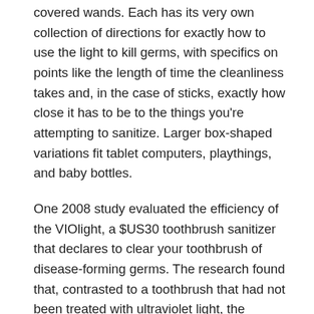covered wands. Each has its very own collection of directions for exactly how to use the light to kill germs, with specifics on points like the length of time the cleanliness takes and, in the case of sticks, exactly how close it has to be to the things you're attempting to sanitize. Larger box-shaped variations fit tablet computers, playthings, and baby bottles.
One 2008 study evaluated the efficiency of the VIOlight, a $US30 toothbrush sanitizer that declares to clear your toothbrush of disease-forming germs. The research found that, contrasted to a toothbrush that had not been treated with ultraviolet light, the VIOlight did away with 86% even more colony-forming devices of S. salivarius, lactobacilli, as well as E. coli. These microorganisms can create strep throat, gastrointestinal troubles, and a number of other diseases.